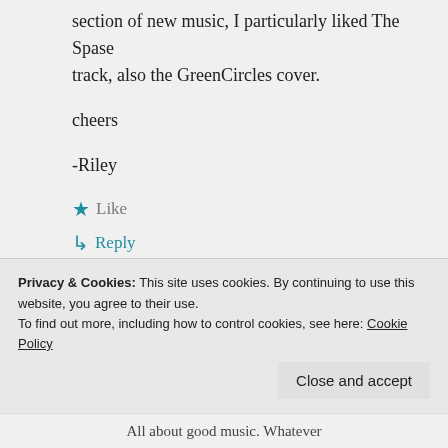section of new music, I particularly liked The Spase track, also the GreenCircles cover.
cheers
-Riley
★ Like
↳ Reply
Privacy & Cookies: This site uses cookies. By continuing to use this website, you agree to their use.
To find out more, including how to control cookies, see here: Cookie Policy
Close and accept
All about good music. Whatever